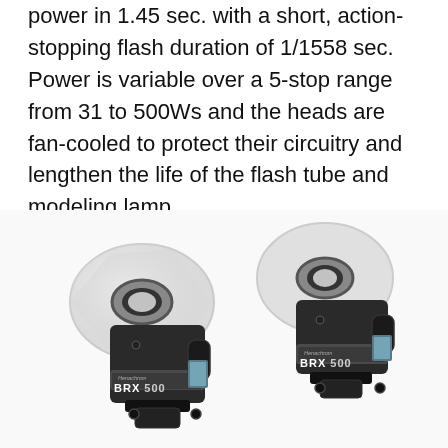power in 1.45 sec. with a short, action-stopping flash duration of 1/1558 sec. Power is variable over a 5-stop range from 31 to 500Ws and the heads are fan-cooled to protect their circuitry and lengthen the life of the flash tube and modeling lamp.
[Figure (photo): Two Henchrom BRX 500 studio flash heads side by side, both black with gray cylindrical bodies, white conical reflectors, and BRX 500 branding on the sides, displayed on a white background.]